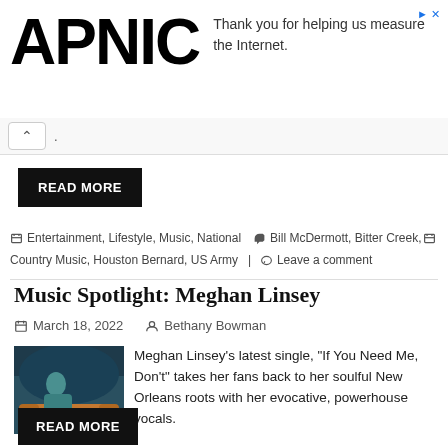[Figure (logo): APNIC logo in large bold black text with advertisement text: Thank you for helping us measure the Internet.]
READ MORE
Entertainment, Lifestyle, Music, National  Bill McDermott, Bitter Creek, Country Music, Houston Bernard, US Army  Leave a comment
Music Spotlight: Meghan Linsey
March 18, 2022   Bethany Bowman
[Figure (photo): Photo of Meghan Linsey in a teal/green dress seated on an orange couch]
Meghan Linsey's latest single, "If You Need Me, Don't" takes her fans back to her soulful New Orleans roots with her evocative, powerhouse vocals.
READ MORE